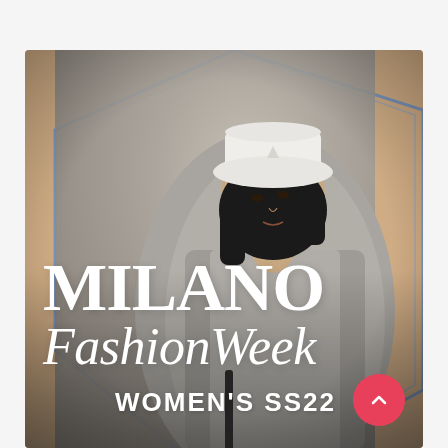[Figure (photo): Milano Fashion Week Women's SS22 promotional image. A woman wearing a white bucket hat and gray blazer stands against a stone wall with a sandy/beige geometric background. Large white serif text reads 'MILANO FashionWeek' with 'WOMEN'S SS22' below. A red circular button with an upward chevron is in the bottom right.]
MILANO FashionWeek WOMEN'S SS22